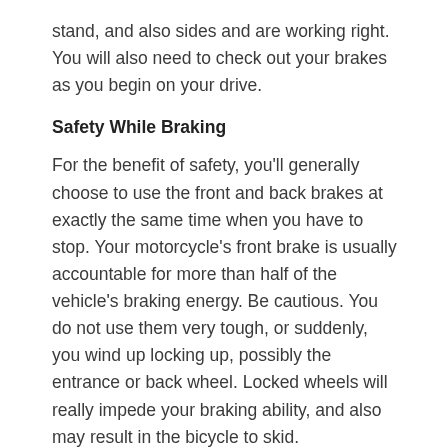stand, and also sides and are working right. You will also need to check out your brakes as you begin on your drive.
Safety While Braking
For the benefit of safety, you'll generally choose to use the front and back brakes at exactly the same time when you have to stop. Your motorcycle's front brake is usually accountable for more than half of the vehicle's braking energy. Be cautious. You do not use them very tough, or suddenly, you wind up locking up, possibly the entrance or back wheel. Locked wheels will really impede your braking ability, and also may result in the bicycle to skid.
Always Be Prepared
It is a wise idea to constantly have your owner's hand and one tool kit along for the drive. All things considered, who knows when you may encounter a